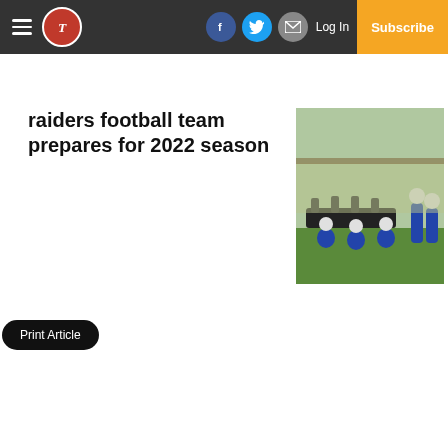Raiders football team prepares for 2022 season — navigation bar with logo, Facebook, Twitter, email icons, Log In, Subscribe
Raiders football team prepares for 2022 season
[Figure (photo): Football players in blue uniforms and white helmets doing sled drills on a grass field during practice]
Print Article